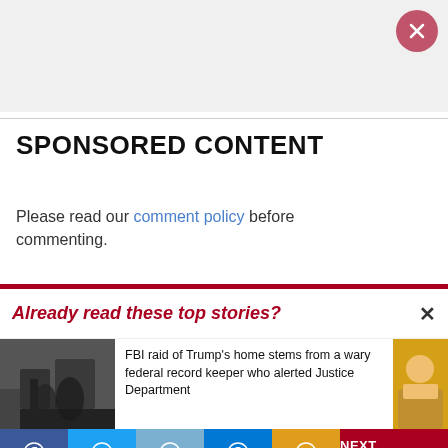[Figure (other): Advertisement placeholder area with close button (pink/red circle with X)]
SPONSORED CONTENT
Please read our comment policy before commenting.
Already read these top stories?
FBI raid of Trump's home stems from a wary federal record keeper who alerted Justice Department